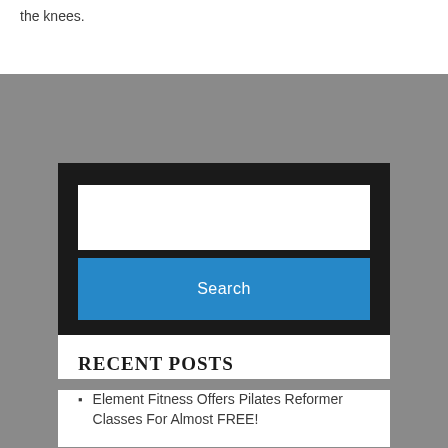the knees.
[Figure (screenshot): Search widget with white input box and blue Search button on dark background]
RECENT POSTS
Element Fitness Offers Pilates Reformer Classes For Almost FREE!